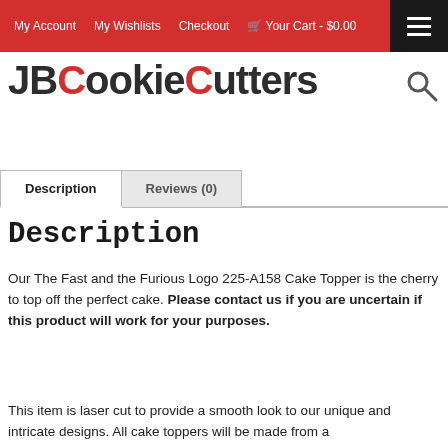My Account  My Wishlists  Checkout  Your Cart - $0.00
[Figure (logo): JBCookieCutters logo with JB in dark and C in red, Cookie in dark, C in red, utters in dark]
| Description | Reviews (0) |
| --- | --- |
Description
Our The Fast and the Furious Logo 225-A158 Cake Topper is the cherry to top off the perfect cake. Please contact us if you are uncertain if this product will work for your purposes.
This item is laser cut to provide a smooth look to our unique and intricate designs. All cake toppers will be made from a